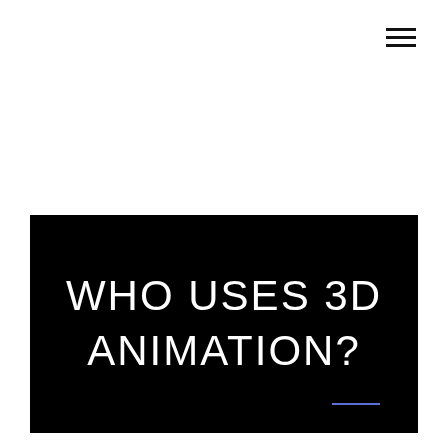[Figure (other): Hamburger menu icon (three horizontal lines) in top right corner]
WHO USES 3D ANIMATION?